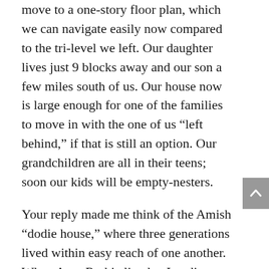move to a one-story floor plan, which we can navigate easily now compared to the tri-level we left. Our daughter lives just 9 blocks away and our son a few miles south of us. Our house now is large enough for one of the families to move in with the one of us “left behind,” if that is still an option. Our grandchildren are all in their teens; soon our kids will be empty-nesters.
Your reply made me think of the Amish “dodie house,” where three generations lived within easy reach of one another. When Aunt Ruthie lived at Landis Homes, I saw Amish care-givers, but not many Amish residents, if any.
I know you are in the throes of curating